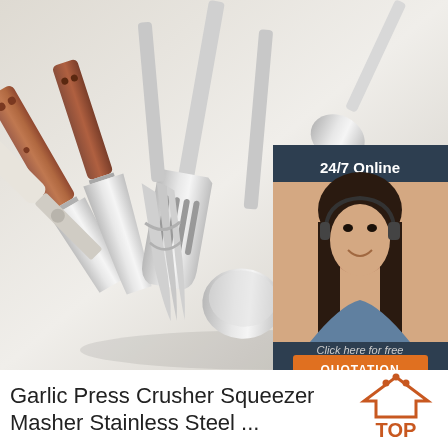[Figure (photo): Kitchen utensils including spatulas and spoons with wooden handles laid out on a white/grey surface, with a 24/7 Online customer service ad overlay in the top right corner featuring a woman with a headset]
Garlic Press Crusher Squeezer Masher Stainless Steel ...